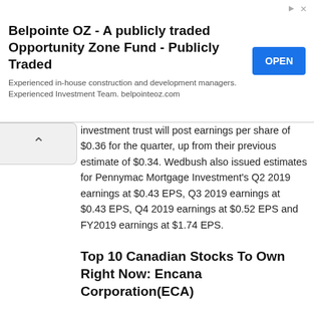[Figure (infographic): Advertisement banner for Belpointe OZ - A publicly traded Opportunity Zone Fund. Contains title text, subtitle text about construction/development managers and investment team at belpointeoz.com, and a blue OPEN button. Has a small arrow/close icon in the top right.]
investment trust will post earnings per share of $0.36 for the quarter, up from their previous estimate of $0.34. Wedbush also issued estimates for Pennymac Mortgage Investment's Q2 2019 earnings at $0.43 EPS, Q3 2019 earnings at $0.43 EPS, Q4 2019 earnings at $0.52 EPS and FY2019 earnings at $1.74 EPS.
Top 10 Canadian Stocks To Own Right Now: Encana Corporation(ECA)
Encana Corporation and its subsidiaries engage in the exploration for, development, production, and marketing of natural gas, oil, and natural gas liquids. The company owns interests in resource plays that primarily include the